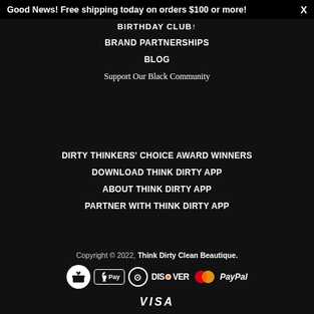Good News! Free shipping today on orders $100 or more! X
BIRTHDAY CLUB↑
BRAND PARTNERSHIPS
BLOG
Support Our Black Community
DIRTY THINKERS' CHOICE AWARD WINNERS
DOWNLOAD THINK DIRTY APP
ABOUT THINK DIRTY APP
PARTNER WITH THINK DIRTY APP
Copyright © 2022, Think Dirty Clean Beautique.
[Figure (other): Payment icons: gift icon circle, Apple Pay, Diners Club, Discover, Mastercard, PayPal, Visa]